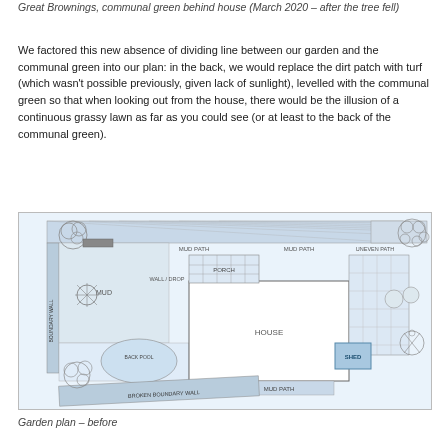Great Brownings, communal green behind house (March 2020 – after the tree fell)
We factored this new absence of dividing line between our garden and the communal green into our plan: in the back, we would replace the dirt patch with turf (which wasn't possible previously, given lack of sunlight), levelled with the communal green so that when looking out from the house, there would be the illusion of a continuous grassy lawn as far as you could see (or at least to the back of the communal green).
[Figure (engineering-diagram): Garden plan – before. A top-down architectural floor plan of a garden showing: boundary wall on left side, mud area top-left, patio area center-left, back pool (oval), house in center, porch top-center, shed (blue box) right-center, various mud paths along top and bottom, uneven path top-right, broken boundary wall at bottom, and trees/shrubs illustrated at corners and edges.]
Garden plan – before